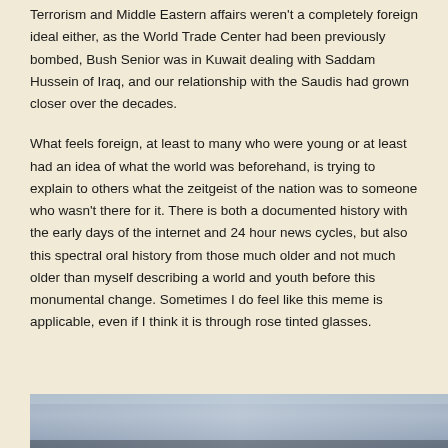Terrorism and Middle Eastern affairs weren't a completely foreign ideal either, as the World Trade Center had been previously bombed, Bush Senior was in Kuwait dealing with Saddam Hussein of Iraq, and our relationship with the Saudis had grown closer over the decades.
What feels foreign, at least to many who were young or at least had an idea of what the world was beforehand, is trying to explain to others what the zeitgeist of the nation was to someone who wasn't there for it. There is both a documented history with the early days of the internet and 24 hour news cycles, but also this spectral oral history from those much older and not much older than myself describing a world and youth before this monumental change. Sometimes I do feel like this meme is applicable, even if I think it is through rose tinted glasses.
[Figure (photo): A partial image strip at the bottom of the page showing a blurred blue and grey gradient, likely a sky or landscape photo partially visible.]